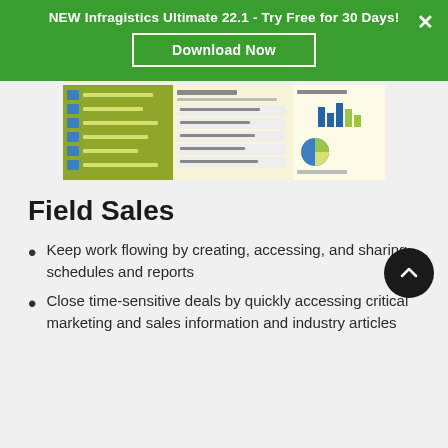NEW Infragistics Ultimate 22.1 - Try Free for 30 Days! Download Now
[Figure (screenshot): Screenshot of a field sales application dashboard showing a sidebar navigation, Top Opportunities list, and Sales Performance chart with bar graph and pie chart]
Field Sales
Keep work flowing by creating, accessing, and sharing schedules and reports
Close time-sensitive deals by quickly accessing critical marketing and sales information and industry articles